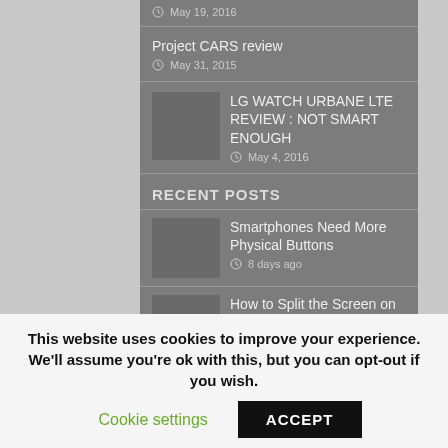May 19, 2016
Project CARS review
May 31, 2015
LG WATCH URBANE LTE REVIEW : NOT SMART ENOUGH
May 4, 2016
RECENT POSTS
Smartphones Need More Physical Buttons
8 days ago
How to Split the Screen on Android
This website uses cookies to improve your experience. We'll assume you're ok with this, but you can opt-out if you wish.
Cookie settings
ACCEPT